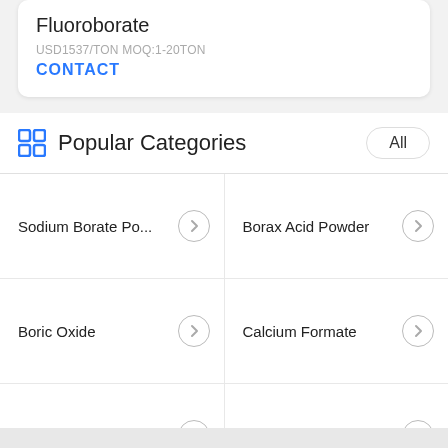Fluoroborate
USD1537/TON MOQ:1-20TON
CONTACT
Popular Categories
Sodium Borate Po...
Borax Acid Powder
Boric Oxide
Calcium Formate
Barium Carbonate ...
Potassium Fluorob...
Potassium Titaniu...
Sodium Cryolite